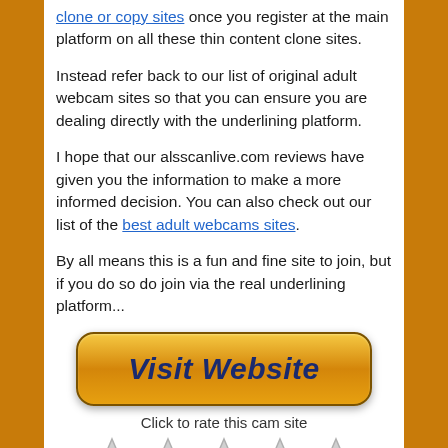clone or copy sites once you register at the main platform on all these thin content clone sites.
Instead refer back to our list of original adult webcam sites so that you can ensure you are dealing directly with the underlining platform.
I hope that our alsscanlive.com reviews have given you the information to make a more informed decision. You can also check out our list of the best adult webcams sites.
By all means this is a fun and fine site to join, but if you do so do join via the real underlining platform...
[Figure (other): Golden gradient button with rounded corners reading 'Visit Website' in bold dark blue italic text]
Click to rate this cam site
[Figure (other): Row of partially visible star rating icons at the bottom of the page]